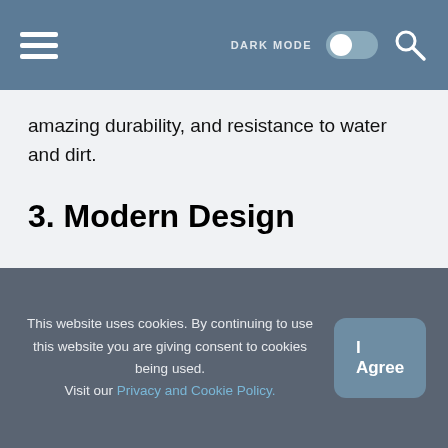DARK MODE [toggle] [search icon]
amazing durability, and resistance to water and dirt.
3. Modern Design
This website uses cookies. By continuing to use this website you are giving consent to cookies being used. Visit our Privacy and Cookie Policy.